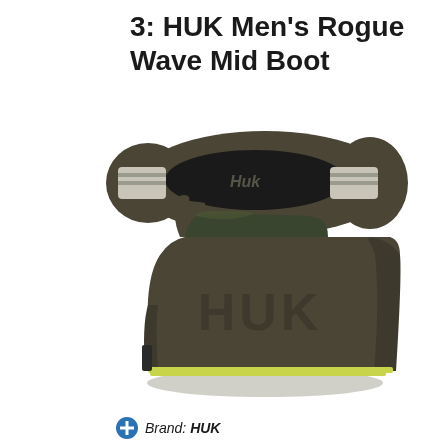3: HUK Men's Rogue Wave Mid Boot
[Figure (photo): Two views of the HUK Men's Rogue Wave Mid Boot: top-down view showing olive/dark brown boot with black interior and HUK logo, with white/grey elastic side panels; and side view of the ankle boot showing olive/brown rubber construction with embossed HUK letters on the side, yellow-green midsole accent, and pull tabs at top.]
Brand: HUK